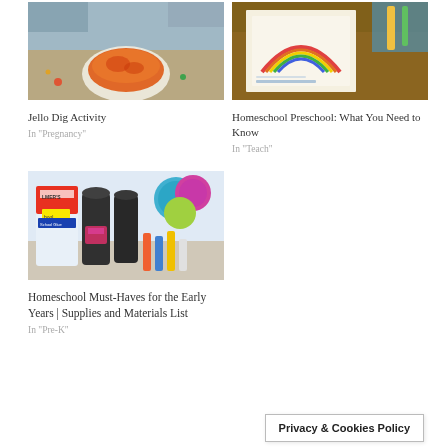[Figure (photo): Child's hands near a bowl of orange jello with small toys, activity photo]
[Figure (photo): Colorful homeschool preschool worksheets and learning materials on a desk]
Jello Dig Activity
In "Pregnancy"
Homeschool Preschool: What You Need to Know
In "Teach"
[Figure (photo): Art and craft supplies including Elmer's glue, paint bottles, yarn, and colorful materials]
Homeschool Must-Haves for the Early Years | Supplies and Materials List
In "Pre-K"
Privacy & Cookies Policy